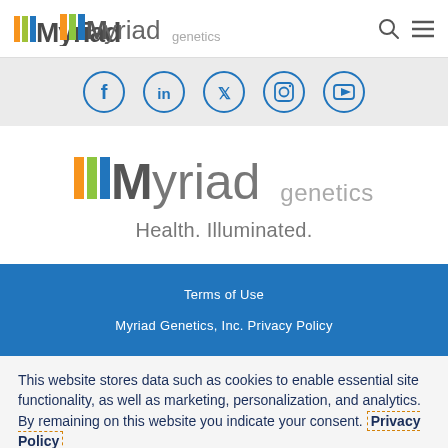Myriad genetics
[Figure (illustration): Social media icon circles: Facebook, LinkedIn, Twitter, Instagram, YouTube]
[Figure (logo): Myriad Genetics logo with colored M stripes and tagline: Health. Illuminated.]
Terms of Use
Myriad Genetics, Inc. Privacy Policy
This website stores data such as cookies to enable essential site functionality, as well as marketing, personalization, and analytics. By remaining on this website you indicate your consent. Privacy Policy